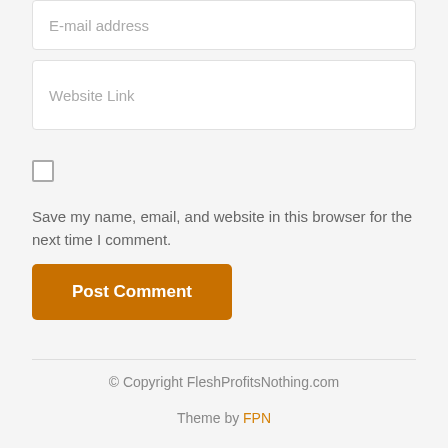E-mail address
Website Link
Save my name, email, and website in this browser for the next time I comment.
Post Comment
© Copyright FleshProfitsNothing.com
Theme by FPN